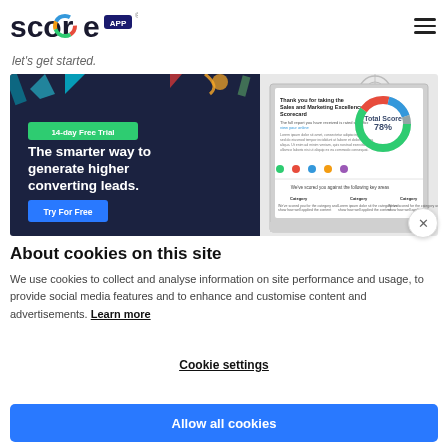Score App — let's get started.
[Figure (screenshot): Score App promotional banner showing '14-day Free Trial — The smarter way to generate higher converting leads. Try For Free' on dark blue background with a laptop screenshot showing a scorecard with donut chart at 78%]
About cookies on this site
We use cookies to collect and analyse information on site performance and usage, to provide social media features and to enhance and customise content and advertisements. Learn more
Cookie settings
Allow all cookies